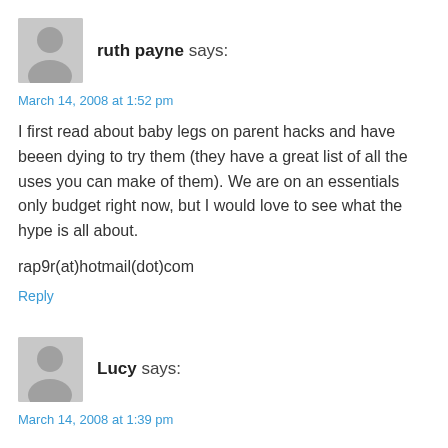ruth payne says:
March 14, 2008 at 1:52 pm
I first read about baby legs on parent hacks and have beeen dying to try them (they have a great list of all the uses you can make of them). We are on an essentials only budget right now, but I would love to see what the hype is all about.
rap9r(at)hotmail(dot)com
Reply
Lucy says:
March 14, 2008 at 1:39 pm